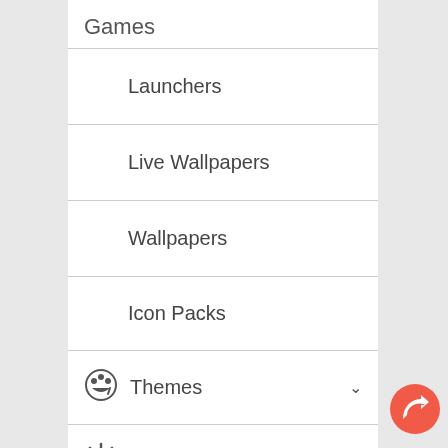Games
Launchers
Live Wallpapers
Wallpapers
Icon Packs
Themes
Widgets
Phones
[Figure (illustration): Share/reply FAB button, coral/red circular button with white arrow icon]